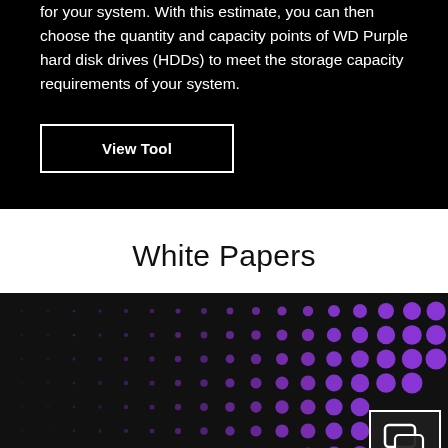for your system. With this estimate, you can then choose the quantity and capacity points of WD Purple hard disk drives (HDDs) to meet the storage capacity requirements of your system.
View Tool
White Papers
[Figure (illustration): Dark background with a gradient pattern of purple dots increasing in size from left to right, with a white-bordered chat/comment icon in the bottom right corner.]